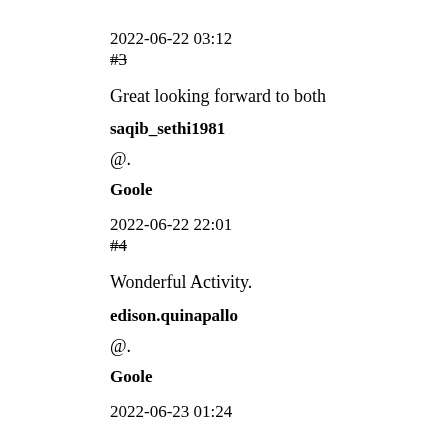2022-06-22 03:12
#3
Great looking forward to both
saqib_sethi1981
@.
Goole
2022-06-22 22:01
#4
Wonderful Activity.
edison.quinapallo
@.
Goole
2022-06-23 01:24